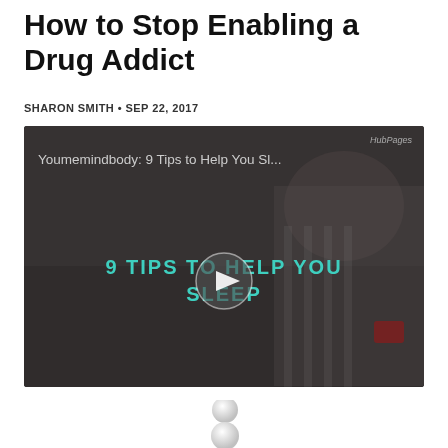How to Stop Enabling a Drug Addict
SHARON SMITH • SEP 22, 2017
[Figure (screenshot): Video thumbnail showing a person lying in bed with text overlay '9 TIPS TO HELP YOU SLEEP' and a play button. Video title reads 'Youmemindbody: 9 Tips to Help You Sl...' HubPages watermark visible in top right.]
[Figure (illustration): White 3D figure/person illustration, partially visible at the bottom of the page, appears to be a small humanoid figure.]